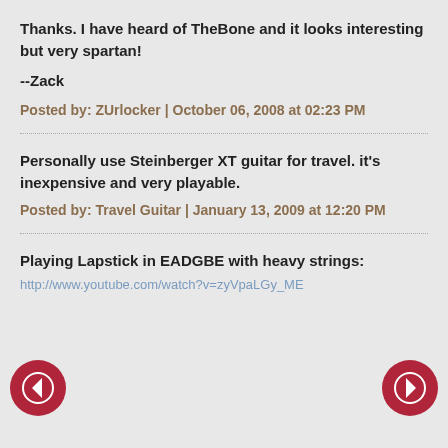Thanks. I have heard of TheBone and it looks interesting but very spartan!
--Zack
Posted by: ZUrlocker | October 06, 2008 at 02:23 PM
Personally use Steinberger XT guitar for travel. it's inexpensive and very playable.
Posted by: Travel Guitar | January 13, 2009 at 12:20 PM
Playing Lapstick in EADGBE with heavy strings:
http://www.youtube.com/watch?v=zyVpaLGy_ME